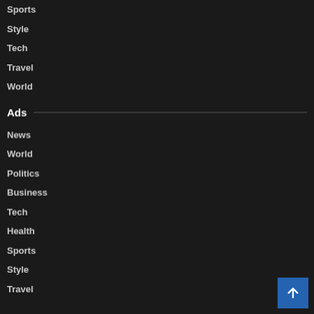Sports
Style
Tech
Travel
World
Ads
News
World
Politics
Business
Tech
Health
Sports
Style
Travel